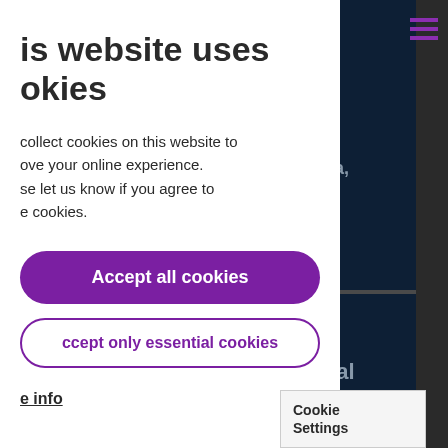This website uses cookies
We collect cookies on this website to improve your online experience. Please let us know if you agree to the cookies.
Accept all cookies
Accept only essential cookies
More info
rdwara, 21
ary.
iastical March
Cookie Settings